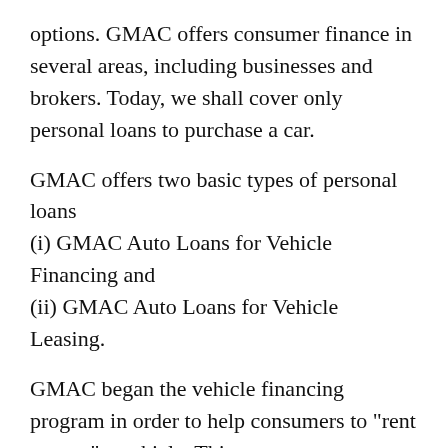options. GMAC offers consumer finance in several areas, including businesses and brokers. Today, we shall cover only personal loans to purchase a car.
GMAC offers two basic types of personal loans (i) GMAC Auto Loans for Vehicle Financing and (ii) GMAC Auto Loans for Vehicle Leasing.
GMAC began the vehicle financing program in order to help consumers to "rent to own" a vehicle. This program was offered as traditional retail financing and SmartBuy.
In Traditional Financing, GMAC defines this as "an installment sale transaction between you and your dealer whereby you agree to pay the amount financed, plus an agreed upon finance charge, over a specific period of time." This is what you would normally expect when you purchase a car.